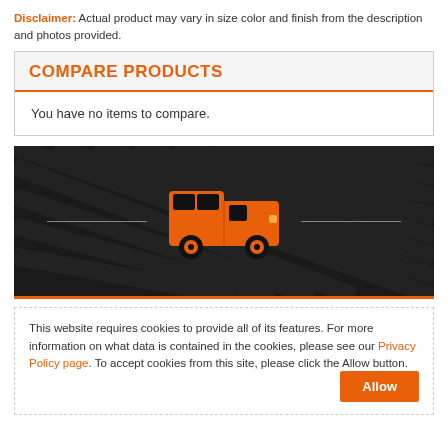Disclaimer: Actual product may vary in size color and finish from the description and photos provided.
COMPARE PRODUCTS
You have no items to compare.
[Figure (illustration): Dark background panel with an orange delivery van icon centered between two horizontal lines]
This website requires cookies to provide all of its features. For more information on what data is contained in the cookies, please see our Privacy Policy page. To accept cookies from this site, please click the Allow button.